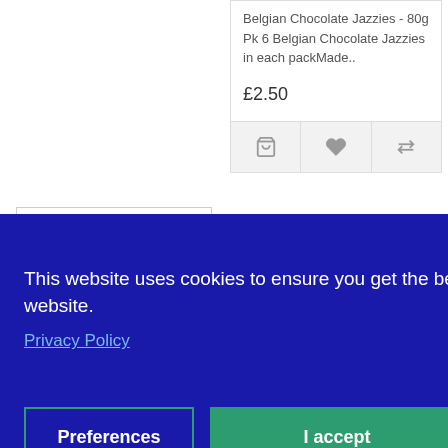Belgian Chocolate Jazzies - 80g Pk  6 Belgian Chocolate Jazzies in each packMade..
£2.50
[Figure (screenshot): Product action buttons: shopping cart, heart/wishlist, and compare arrows icons in a grey bar]
[Figure (screenshot): Cookie consent banner overlay with dark blue background containing close button, cookie notice text, Privacy Policy link, Preferences button, and I accept button]
Close
This website uses cookies to ensure you get the best experience on our website.
Privacy Policy
Preferences
I accept
Lollipop